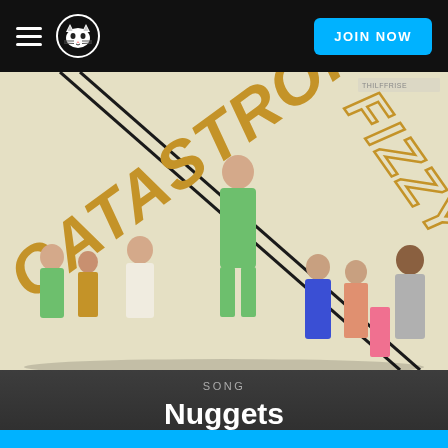Napster navigation bar with hamburger menu, Napster logo, and JOIN NOW button
[Figure (illustration): Album cover for 'Fizzy' by Catastrophe. Cream/beige background with diagonal text 'CATASTROPHE' in gold/mustard and 'FIZZY' in gold outlined letters. Multiple people in colorful outfits (green suits, blue dress, pink pants, mustard outfits) arranged in a group photo style.]
SONG
Nuggets
Catastrophe